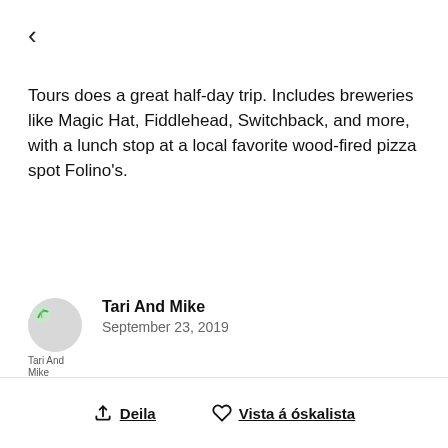< (back arrow)
Tours does a great half-day trip. Includes breweries like Magic Hat, Fiddlehead, Switchback, and more, with a lunch stop at a local favorite wood-fired pizza spot Folino's.
Tari And Mike
September 23, 2019
Great way to visit multiple breweries and have a driver!
Deila   Vista á óskalista